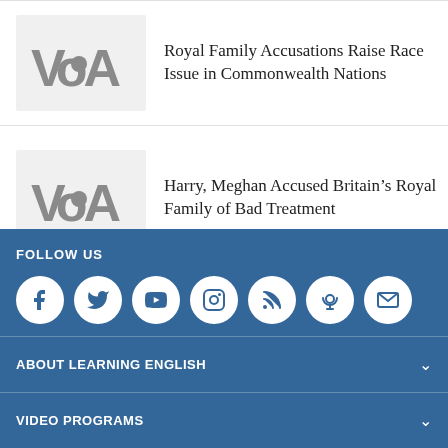[Figure (logo): VOA logo thumbnail for article 1]
Royal Family Accusations Raise Race Issue in Commonwealth Nations
[Figure (logo): VOA logo thumbnail for article 2]
Harry, Meghan Accused Britain’s Royal Family of Bad Treatment
FOLLOW US
[Figure (infographic): Social media icons: Facebook, Twitter, YouTube, Instagram, RSS, Podcast, Email]
ABOUT LEARNING ENGLISH
VIDEO PROGRAMS